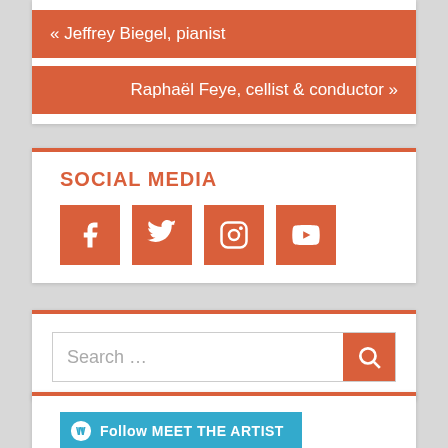« Jeffrey Biegel, pianist
Raphaël Feye, cellist & conductor »
SOCIAL MEDIA
[Figure (infographic): Four social media icon buttons in orange: Facebook (f), Twitter (bird), Instagram (camera), YouTube (play button)]
[Figure (infographic): Search bar with placeholder text 'Search ...' and an orange search button with magnifying glass icon]
[Figure (infographic): Blue 'Follow MEET THE ARTIST' button with WordPress logo]